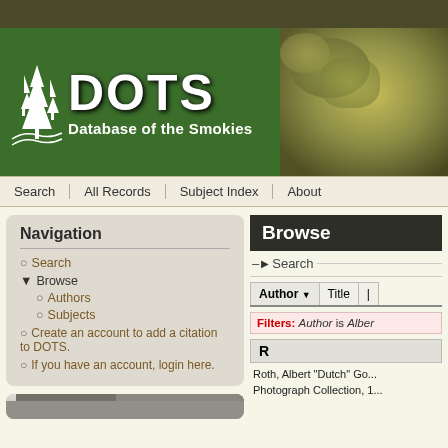[Figure (screenshot): DOTS – Database of the Smokies website header banner with green background, white tree icons, and large DOTS text]
Search | All Records | Subject Index | About
Navigation
Search
Browse
Authors
Subjects
Create an account to add a citation to DOTS.
If you have an account, login here.
[Figure (photo): Black and white photo of people near a car]
Browse
Search
Author ▼  Title
Filters: Author is Alber...
R
Roth, Albert "Dutch" Go... Photograph Collection, 1...